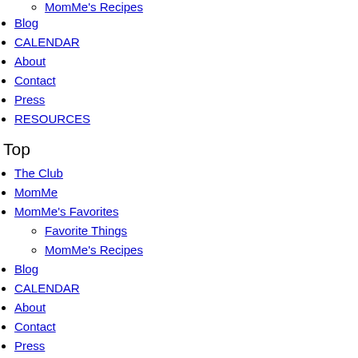MomMe's Recipes
Blog
CALENDAR
About
Contact
Press
RESOURCES
Top
The Club
MomMe
MomMe's Favorites
Favorite Things
MomMe's Recipes
Blog
CALENDAR
About
Contact
Press
RESOURCES
Search